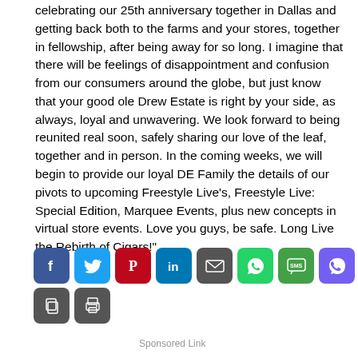celebrating our 25th anniversary together in Dallas and getting back both to the farms and your stores, together in fellowship, after being away for so long. I imagine that there will be feelings of disappointment and confusion from our consumers around the globe, but just know that your good ole Drew Estate is right by your side, as always, loyal and unwavering. We look forward to being reunited real soon, safely sharing our love of the leaf, together and in person. In the coming weeks, we will begin to provide our loyal DE Family the details of our pivots to upcoming Freestyle Live's, Freestyle Live: Special Edition, Marquee Events, plus new concepts in virtual store events. Love you guys, be safe. Long Live the Rebirth of Cigars!"
[Figure (other): Row of social media sharing buttons: Facebook, Twitter, Pinterest, LinkedIn, Email, WhatsApp, SMS, Viber, Telegram, Messenger, Copy, Print]
Sponsored Link